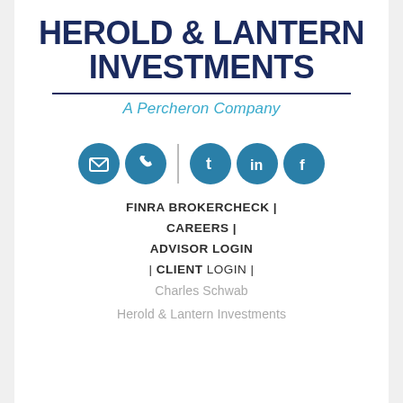[Figure (logo): Herold & Lantern Investments logo with tagline 'A Percheron Company']
[Figure (infographic): Row of social/contact icon circles: email, phone, separator, Twitter, LinkedIn, Facebook]
FINRA BROKERCHECK |
CAREERS |
ADVISOR LOGIN
| CLIENT LOGIN |
Charles Schwab
Herold & Lantern Investments